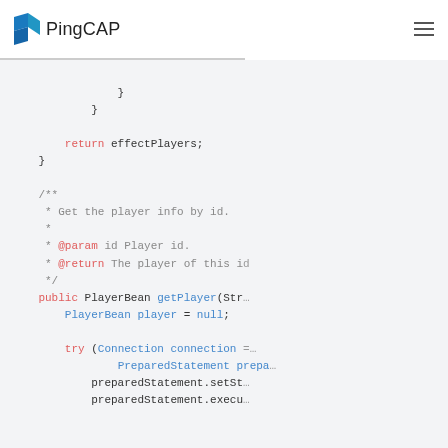PingCAP
[Figure (screenshot): Java code snippet showing a method returning effectPlayers, a Javadoc comment for getPlayer method, and the beginning of the getPlayer method with try block and PreparedStatement]
}
            }

        return effectPlayers;
    }

    /**
     * Get the player info by id.
     *
     * @param id Player id.
     * @return The player of this id
     */
    public PlayerBean getPlayer(Str...
        PlayerBean player = null;


        try (Connection connection =...
                PreparedStatement prepa...
            preparedStatement.setSt...
            preparedStatement.execu...